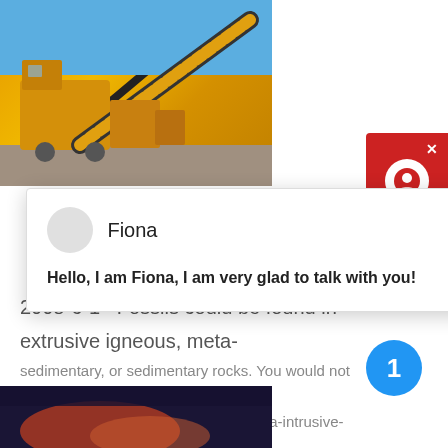[Figure (photo): Yellow industrial mining/conveyor machinery against blue sky and rubble ground]
[Figure (screenshot): Chat popup overlay with avatar for 'Fiona' saying 'Hello, I am Fiona, I am very glad to talk with you!']
2008-6-1   Fossils could be found in extrusive igneous, meta-sedimentary, or sedimentary rocks. You would not expect to find fossils in intrusive igneous or meta-intrusive-igneous... just made that
get price
[Figure (photo): Dark reddish/orange blurred photo at bottom of page]